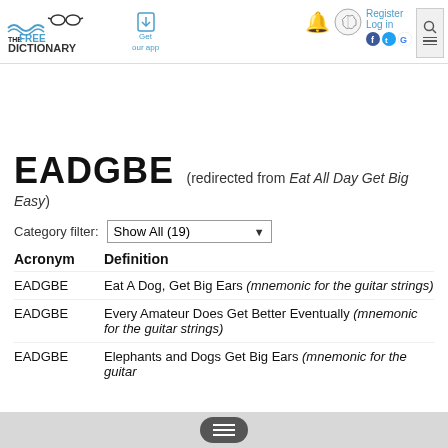The Free Dictionary by Farlex — Get our app — Register Log in
EADGBE (redirected from Eat All Day Get Big Easy)
Category filter: Show All (19)
| Acronym | Definition |
| --- | --- |
| EADGBE | Eat A Dog, Get Big Ears (mnemonic for the guitar strings) |
| EADGBE | Every Amateur Does Get Better Eventually (mnemonic for the guitar strings) |
| EADGBE | Elephants and Dogs Get Big Ears (mnemonic for the guitar |